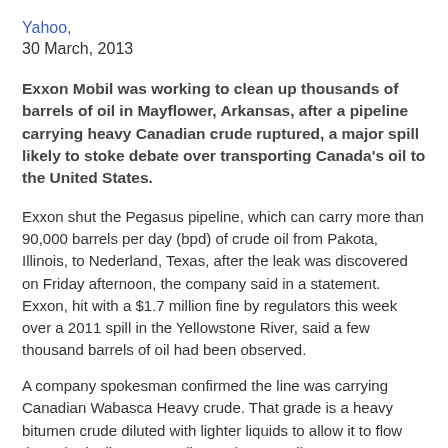Yahoo,
30 March, 2013
Exxon Mobil was working to clean up thousands of barrels of oil in Mayflower, Arkansas, after a pipeline carrying heavy Canadian crude ruptured, a major spill likely to stoke debate over transporting Canada's oil to the United States.
Exxon shut the Pegasus pipeline, which can carry more than 90,000 barrels per day (bpd) of crude oil from Pakota, Illinois, to Nederland, Texas, after the leak was discovered on Friday afternoon, the company said in a statement. Exxon, hit with a $1.7 million fine by regulators this week over a 2011 spill in the Yellowstone River, said a few thousand barrels of oil had been observed.
A company spokesman confirmed the line was carrying Canadian Wabasca Heavy crude. That grade is a heavy bitumen crude diluted with lighter liquids to allow it to flow through pipelines, according to the Canadian Energy…